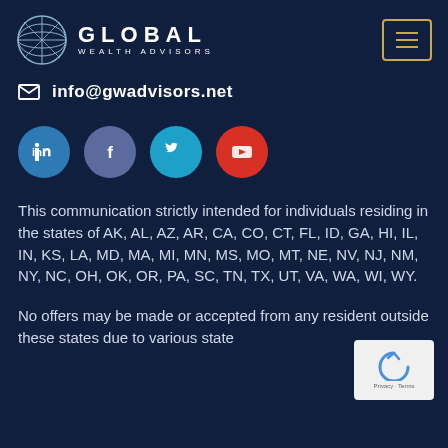[Figure (logo): Global Wealth Advisors logo with globe icon and text GLOBAL WEALTH ADVISORS]
info@gwadvisors.net
[Figure (infographic): Social media icons: LinkedIn (blue), Facebook (muted blue), Twitter (cyan), YouTube (red)]
This communication strictly intended for individuals residing in the states of AK, AL, AZ, AR, CA, CO, CT, FL, ID, GA, HI, IL, IN, KS, LA, MD, MA, MI, MN, MS, MO, MT, NE, NV, NJ, NM, NY, NC, OH, OK, OR, PA, SC, TN, TX, UT, VA, WA, WI, WY.
No offers may be made or accepted from any resident outside these states due to various state